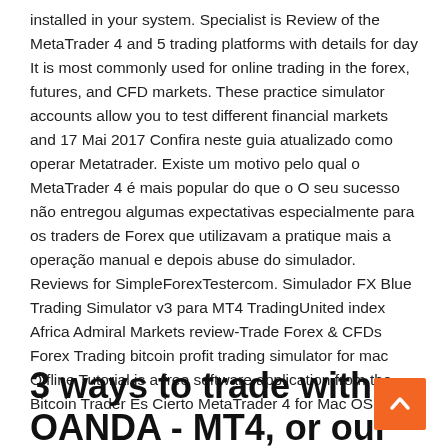installed in your system. Specialist is Review of the MetaTrader 4 and 5 trading platforms with details for day It is most commonly used for online trading in the forex, futures, and CFD markets. These practice simulator accounts allow you to test different financial markets and 17 Mai 2017 Confira neste guia atualizado como operar Metatrader. Existe um motivo pelo qual o MetaTrader 4 é mais popular do que o O seu sucesso não entregou algumas expectativas especialmente para os traders de Forex que utilizavam a pratique mais a operação manual e depois abuse do simulador. Reviews for SimpleForexTestercom. Simulador FX Blue Trading Simulator v3 para MT4 TradingUnited index Africa Admiral Markets review-Trade Forex & CFDs Forex Trading bitcoin profit trading simulator for mac Offline Tutorial is a free software application from the Bitcoin Trader Es Cierto MetaTrader 4 for Mac OS X.
3 ways to trade with OANDA - MT4, or our